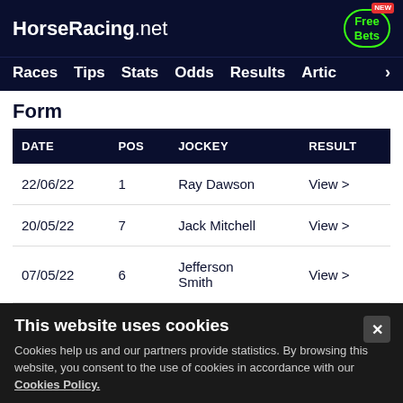HorseRacing.net — Free Bets NEW — Races Tips Stats Odds Results Articles
Form
| DATE | POS | JOCKEY | RESULT |
| --- | --- | --- | --- |
| 22/06/22 | 1 | Ray Dawson | View > |
| 20/05/22 | 7 | Jack Mitchell | View > |
| 07/05/22 | 6 | Jefferson Smith | View > |
This website uses cookies
Cookies help us and our partners provide statistics. By browsing this website, you consent to the use of cookies in accordance with our Cookies Policy.
Accept & Close